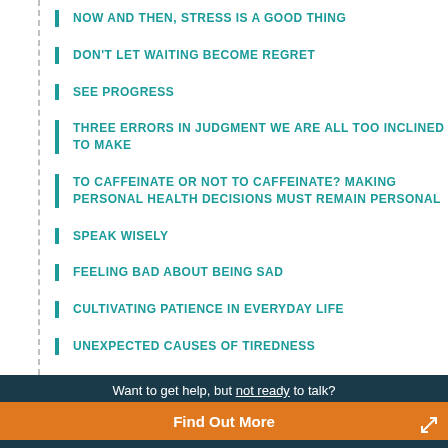NOW AND THEN, STRESS IS A GOOD THING
DON'T LET WAITING BECOME REGRET
SEE PROGRESS
THREE ERRORS IN JUDGMENT WE ARE ALL TOO INCLINED TO MAKE
TO CAFFEINATE OR NOT TO CAFFEINATE? MAKING PERSONAL HEALTH DECISIONS MUST REMAIN PERSONAL
SPEAK WISELY
FEELING BAD ABOUT BEING SAD
CULTIVATING PATIENCE IN EVERYDAY LIFE
UNEXPECTED CAUSES OF TIREDNESS
Want to get help, but not ready to talk?
Find Out More